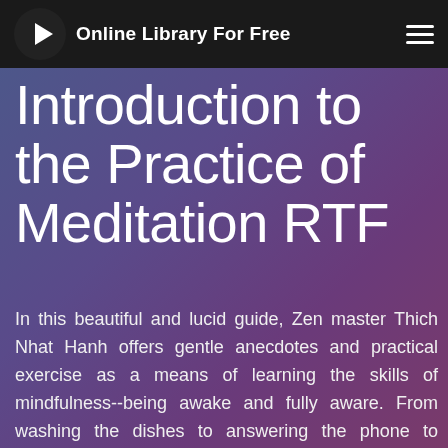Online Library For Free
Introduction to the Practice of Meditation RTF
In this beautiful and lucid guide, Zen master Thich Nhat Hanh offers gentle anecdotes and practical exercise as a means of learning the skills of mindfulness--being awake and fully aware. From washing the dishes to answering the phone to peeling an orange, he reminds us that each moment holds